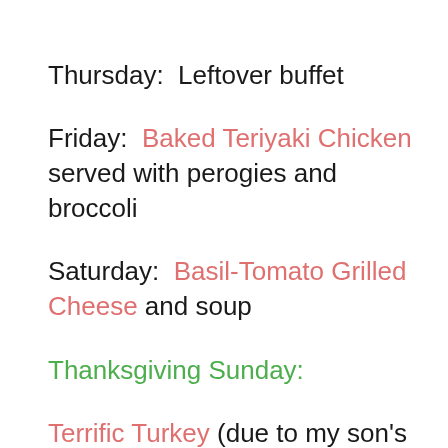Thursday:  Leftover buffet
Friday:  Baked Teriyaki Chicken served with perogies and broccoli
Saturday:  Basil-Tomato Grilled Cheese and soup
Thanksgiving Sunday:
Terrific Turkey (due to my son's allergies I'll do the turkey using the without stuffing preparation and cook my stuffing separately).